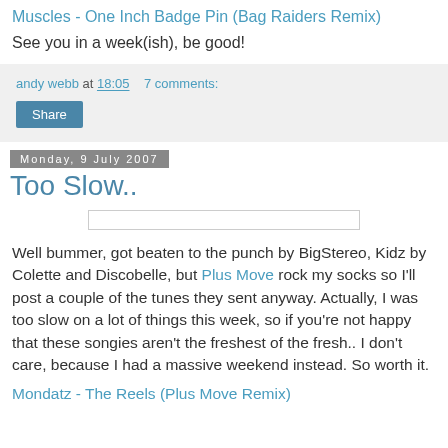Muscles - One Inch Badge Pin (Bag Raiders Remix)
See you in a week(ish), be good!
andy webb at 18:05    7 comments:
Share
Monday, 9 July 2007
Too Slow..
[Figure (other): Horizontal image placeholder bar]
Well bummer, got beaten to the punch by BigStereo, Kidz by Colette and Discobelle, but Plus Move rock my socks so I'll post a couple of the tunes they sent anyway. Actually, I was too slow on a lot of things this week, so if you're not happy that these songies aren't the freshest of the fresh.. I don't care, because I had a massive weekend instead. So worth it.
Mondatz - The Reels (Plus Move Remix)